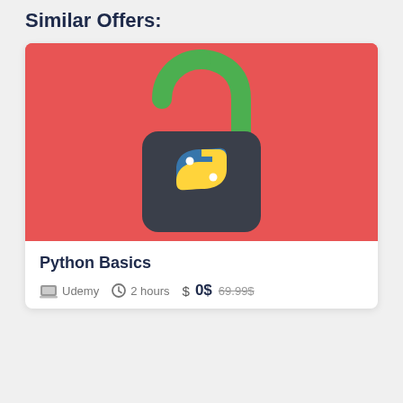Similar Offers:
[Figure (illustration): Course thumbnail with red background showing an open green padlock with the Python logo (blue and yellow snake) on the lock body]
Python Basics
Udemy   2 hours   $ 0$  69.99$